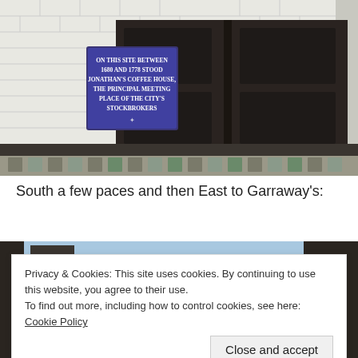[Figure (photo): Photo of a building entrance with large dark wooden doors and white brick walls. A blue commemorative plaque on the left wall reads: 'On This Site Between 1680 and 1778 Stood Jonathan's Coffee House, The Principal Meeting Place of the City's Stockbrokers'. The floor shows decorative tiled pavement.]
South a few paces and then East to Garraway's:
[Figure (photo): Partially visible photo of a building exterior, mostly obscured by a cookie consent overlay.]
Privacy & Cookies: This site uses cookies. By continuing to use this website, you agree to their use. To find out more, including how to control cookies, see here: Cookie Policy
Close and accept